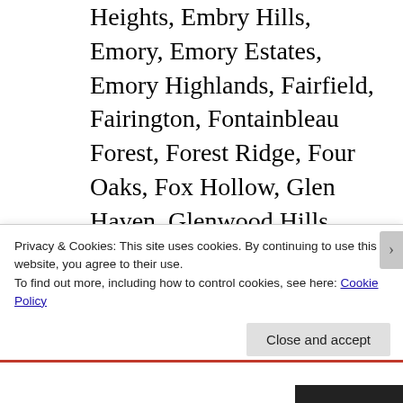Heights, Embry Hills, Emory, Emory Estates, Emory Highlands, Fairfield, Fairington, Fontainbleau Forest, Forest Ridge, Four Oaks, Fox Hollow, Glen Haven, Glenwood Hills, Habersham, Happy Hollow, Henrico, Hidden Branches, Hidden Hills, Hunters Glen, Huntley Hill, Idlewood Acres, Ingleside, Kings Mountain, Kings Ridge, Kings Row, Knoxville...
Privacy & Cookies: This site uses cookies. By continuing to use this website, you agree to their use.
To find out more, including how to control cookies, see here: Cookie Policy
Close and accept